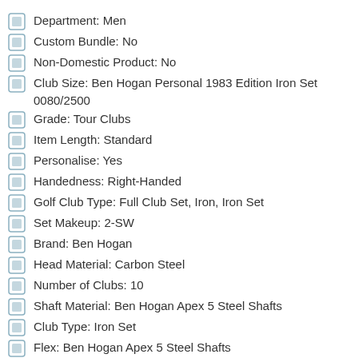Department: Men
Custom Bundle: No
Non-Domestic Product: No
Club Size: Ben Hogan Personal 1983 Edition Iron Set 0080/2500
Grade: Tour Clubs
Item Length: Standard
Personalise: Yes
Handedness: Right-Handed
Golf Club Type: Full Club Set, Iron, Iron Set
Set Makeup: 2-SW
Brand: Ben Hogan
Head Material: Carbon Steel
Number of Clubs: 10
Shaft Material: Ben Hogan Apex 5 Steel Shafts
Club Type: Iron Set
Flex: Ben Hogan Apex 5 Steel Shafts
Everything Factory Original: Heads, Steel Shafts w/Mint Labels & Leather Grips